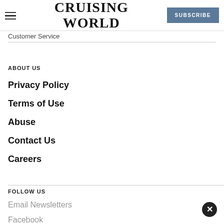CRUISING WORLD | SUBSCRIBE
Customer Service
ABOUT US
Privacy Policy
Terms of Use
Abuse
Contact Us
Careers
FOLLOW US
Email Newsletters
Facebook